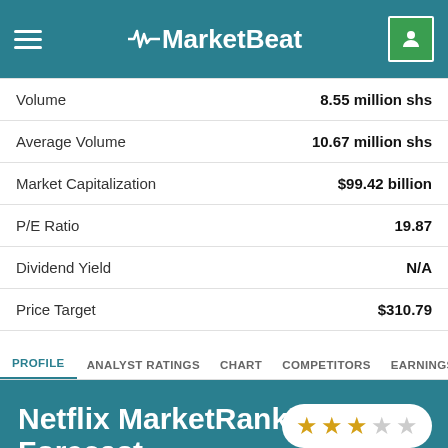MarketBeat
| Metric | Value |
| --- | --- |
| Volume | 8.55 million shs |
| Average Volume | 10.67 million shs |
| Market Capitalization | $99.42 billion |
| P/E Ratio | 19.87 |
| Dividend Yield | N/A |
| Price Target | $310.79 |
PROFILE | ANALYST RATINGS | CHART | COMPETITORS | EARNINGS | FINANCIAL
Netflix MarketRank™ Forecast